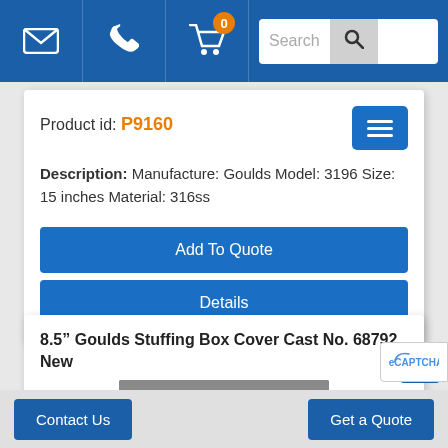Navigation bar with email, phone, cart (0 items), and search
Product id: P9160
Description: Manufacture: Goulds Model: 3196 Size: 15 inches Material: 316ss
Add To Quote
Details
8.5” Goulds Stuffing Box Cover Cast No. 68792, New
[Figure (photo): Product image showing a tag reading 0338 with a logo]
Contact Us | Get a Quote